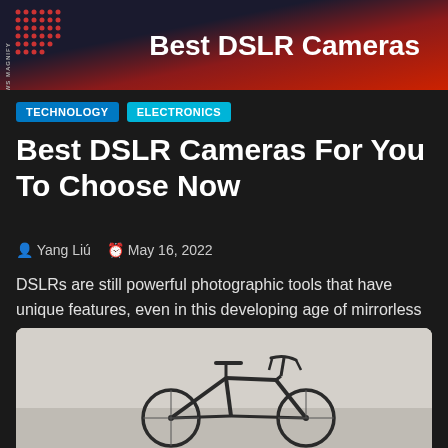[Figure (illustration): Dark banner with red gradient background showing 'Best DSLR Cameras' text in white bold font, with dot pattern on left side]
TECHNOLOGY   ELECTRONICS
Best DSLR Cameras For You To Choose Now
Yang Liú   May 16, 2022
DSLRs are still powerful photographic tools that have unique features, even in this developing age of mirrorless cameras. There are
READ MORE →
[Figure (photo): Partial photo of a road bicycle (frame, saddle, handlebars visible) on a light gray background]